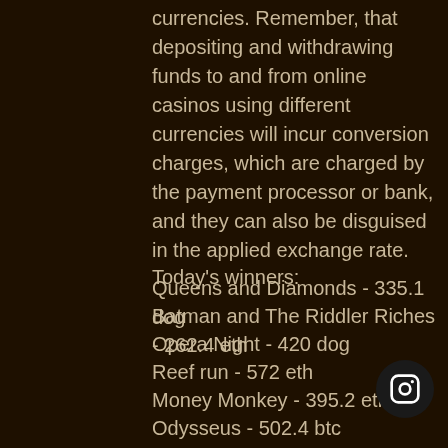currencies. Remember, that depositing and withdrawing funds to and from online casinos using different currencies will incur conversion charges, which are charged by the payment processor or bank, and they can also be disguised in the applied exchange rate.
Today's winners:
Queens and Diamonds - 335.1 dog
Batman and The Riddler Riches - 262.4 eth
Opera Night - 420 dog
Reef run - 572 eth
Money Monkey - 395.2 eth
Odysseus - 502.4 btc
Chinese Kitchen - 295.2 ltc
The Legend of Shaolin - 439.4 usdt
Stunning Hot - 398.3 btc
Little Red - 314.4 ltc
Empire Fortune - 108.3 ltc
Cazino Zeppelin - 728.4 dog